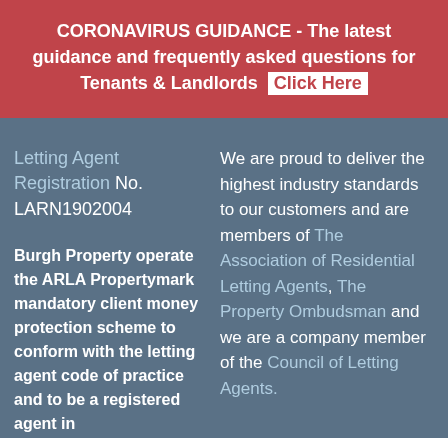CORONAVIRUS GUIDANCE - The latest guidance and frequently asked questions for Tenants & Landlords  Click Here
Letting Agent Registration No. LARN1902004
Burgh Property operate the ARLA Propertymark mandatory client money protection scheme to conform with the letting agent code of practice and to be a registered agent in
We are proud to deliver the highest industry standards to our customers and are members of The Association of Residential Letting Agents, The Property Ombudsman and we are a company member of the Council of Letting Agents.